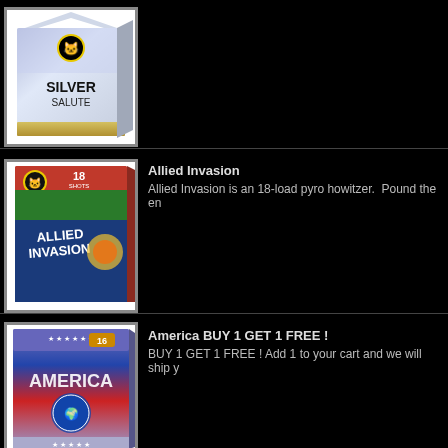[Figure (photo): Silver Salute fireworks product box, purple/silver iridescent design with black cat logo]
[Figure (photo): Allied Invasion fireworks product box, red top, green/blue sides, black cat logo, 18-load pyro howitzer]
Allied Invasion
Allied Invasion is an 18-load pyro howitzer.  Pound the en
[Figure (photo): America fireworks product box, patriotic red/white/blue design, 16-shot]
America BUY 1 GET 1 FREE !
BUY 1 GET 1 FREE ! Add 1 to your cart and we will ship y